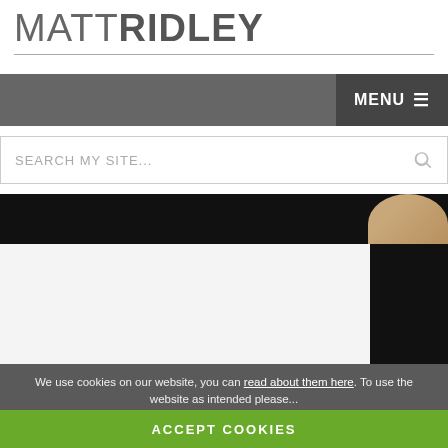MATTRIDLEY
[Figure (screenshot): Navigation bar with MENU button and hamburger icon on dark grey background]
[Figure (screenshot): Search input field with placeholder text SEARCH MY SITE... and magnifying glass icon]
[Figure (photo): Hero image area: dark/black background with partial view of a person's head/hair in the top-right corner, and a light grey content area below]
We use cookies on our website, you can read about them here. To use the website as intended please...
ACCEPT COOKIES